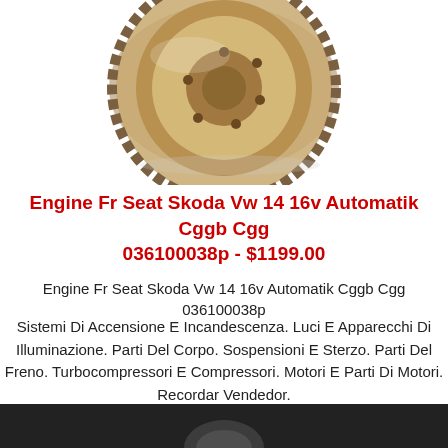[Figure (photo): A flywheel / clutch assembly component for an engine, metallic circular gear part photographed on white background]
Engine Fr Seat Skoda Vw 14 16v Automatik Cggb Cgg 036100038p - $1199.00
Engine Fr Seat Skoda Vw 14 16v Automatik Cggb Cgg 036100038p
Sistemi Di Accensione E Incandescenza. Luci E Apparecchi Di Illuminazione. Parti Del Corpo. Sospensioni E Sterzo. Parti Del Freno. Turbocompressori E Compressori. Motori E Parti Di Motori. Recordar Vendedor.
[Figure (photo): Bottom partial image of another engine component on dark background]